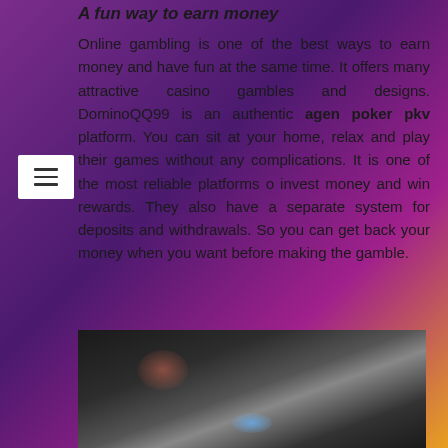A fun way to earn money
Online gambling is one of the best ways to earn money and have fun at the same time. It offers many attractive casino gambles and designs. DominoQQ99 is an authentic agen poker pkv platform. You can sit at your home, relax and play their games without any complications. It is one of the most reliable platforms o invest money and win rewards. They also have a separate system for deposits and withdrawals. So you can get back your money when you want before making the gamble.
[Figure (photo): Dark blurred photograph, appears to show gaming or casino-related scene with bokeh lighting effects]